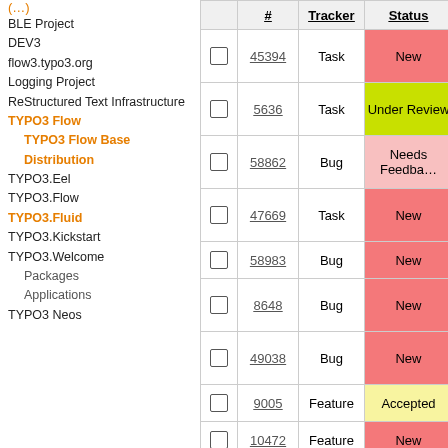(…)
BLE Project
DEV3
flow3.typo3.org
Logging Project
ReStructured Text Infrastructure
TYPO3 Flow
TYPO3 Flow Base Distribution
TYPO3.Eel
TYPO3.Flow
TYPO3.Fluid
TYPO3.Kickstart
TYPO3.Welcome
Packages
Applications
TYPO3 Neos
|  | # | Tracker | Status |
| --- | --- | --- | --- |
| ☐ | 45394 | Task | New |
| ☐ | 5636 | Task | Under Review |
| ☐ | 58862 | Bug | Needs Feedback |
| ☐ | 47669 | Task | New |
| ☐ | 58983 | Bug | New |
| ☐ | 8648 | Bug | New |
| ☐ | 49038 | Bug | New |
| ☐ | 9005 | Feature | Accepted |
| ☐ | 10472 | Feature | New |